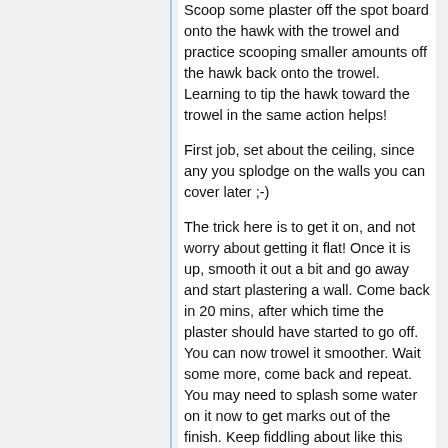Scoop some plaster off the spot board onto the hawk with the trowel and practice scooping smaller amounts off the hawk back onto the trowel. Learning to tip the hawk toward the trowel in the same action helps!
First job, set about the ceiling, since any you splodge on the walls you can cover later ;-)
The trick here is to get it on, and not worry about getting it flat! Once it is up, smooth it out a bit and go away and start plastering a wall. Come back in 20 mins, after which time the plaster should have started to go off. You can now trowel it smoother. Wait some more, come back and repeat. You may need to splash some water on it now to get marks out of the finish. Keep fiddling about like this until it looks flat enough!